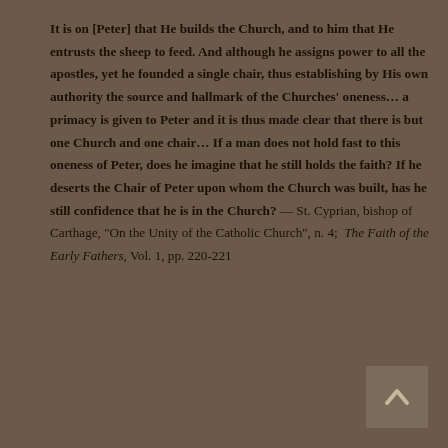It is on [Peter] that He builds the Church, and to him that He entrusts the sheep to feed. And although he assigns power to all the apostles, yet he founded a single chair, thus establishing by His own authority the source and hallmark of the Churches' oneness… a primacy is given to Peter and it is thus made clear that there is but one Church and one chair… If a man does not hold fast to this oneness of Peter, does he imagine that he still holds the faith? If he deserts the Chair of Peter upon whom the Church was built, has he still confidence that he is in the Church? — St. Cyprian, bishop of Carthage, "On the Unity of the Catholic Church", n. 4; The Faith of the Early Fathers, Vol. 1, pp. 220-221